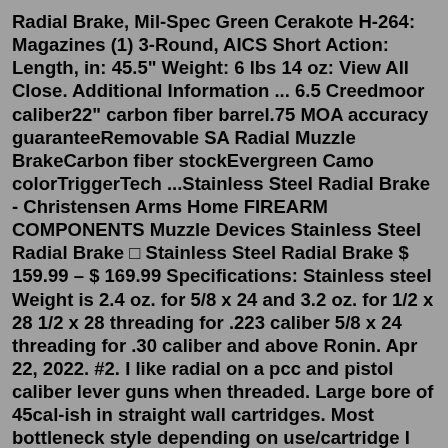Radial Brake, Mil-Spec Green Cerakote H-264: Magazines (1) 3-Round, AICS Short Action: Length, in: 45.5" Weight: 6 lbs 14 oz: View All Close. Additional Information ... 6.5 Creedmoor caliber22" carbon fiber barrel.75 MOA accuracy guaranteeRemovable SA Radial Muzzle BrakeCarbon fiber stockEvergreen Camo colorTriggerTech ...Stainless Steel Radial Brake - Christensen Arms Home FIREARM COMPONENTS Muzzle Devices Stainless Steel Radial Brake □ Stainless Steel Radial Brake $ 159.99 – $ 169.99 Specifications: Stainless steel Weight is 2.4 oz. for 5/8 x 24 and 3.2 oz. for 1/2 x 28 1/2 x 28 threading for .223 caliber 5/8 x 24 threading for .30 caliber and above Ronin. Apr 22, 2022. #2. I like radial on a pcc and pistol caliber lever guns when threaded. Large bore of 45cal-ish in straight wall cartridges. Most bottleneck style depending on use/cartridge I use more of the directional. These are just what works best for me.23. Location. Missoula, MT. Apr 20, 2020. #1. Good morning, not sure if this is the correct place to post